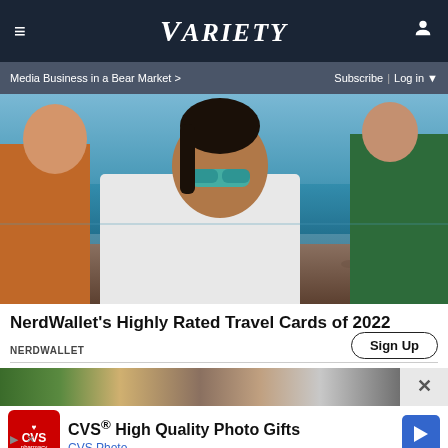≡  VARIETY  [user icon]
Media Business in a Bear Market >   Subscribe | Log in ▼
[Figure (photo): Three women at a beach; a woman in center wearing sunglasses and white shirt laughing, woman in orange/red on left, woman in floral on right, blue ocean in background]
NerdWallet's Highly Rated Travel Cards of 2022
NERDWALLET
Sign Up
[Figure (photo): Advertisement banner showing people in background; CVS Pharmacy logo and text: CVS® High Quality Photo Gifts, CVS Photo, with a blue arrow icon]
CVS® High Quality Photo Gifts
CVS Photo